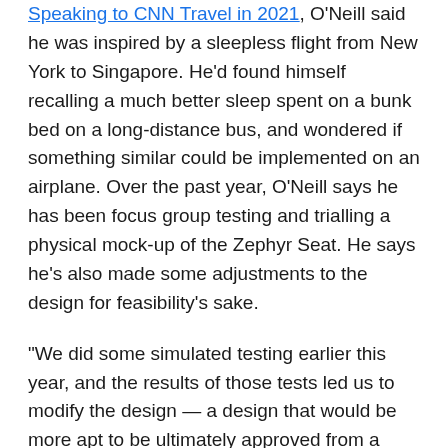Speaking to CNN Travel in 2021, O'Neill said he was inspired by a sleepless flight from New York to Singapore. He'd found himself recalling a much better sleep spent on a bunk bed on a long-distance bus, and wondered if something similar could be implemented on an airplane. Over the past year, O'Neill says he has been focus group testing and trialling a physical mock-up of the Zephyr Seat. He says he's also made some adjustments to the design for feasibility's sake.
“We did some simulated testing earlier this year, and the results of those tests led us to modify the design — a design that would be more apt to be ultimately approved from a safety standpoint,” he says.
In the new concept, the “top bunk” layer of seats isn’t as high as O’Neill initially envisaged, and rather than imagining a ladder to the upper bunk, new renderings